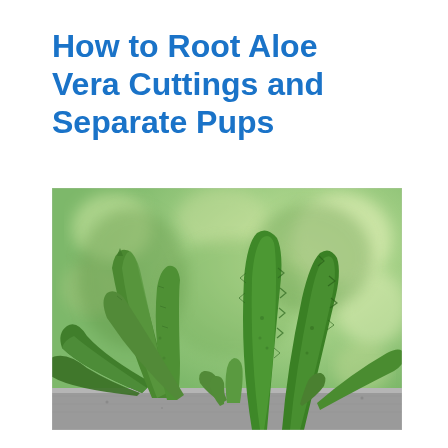How to Root Aloe Vera Cuttings and Separate Pups
[Figure (photo): Close-up photograph of aloe vera plants with thick green spiky leaves growing in a concrete/stone planter, with a blurred green garden background]